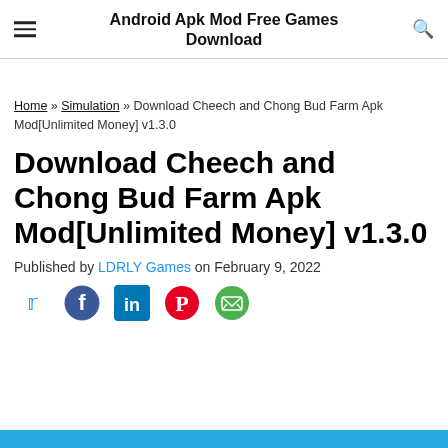Android Apk Mod Free Games Download
Home » Simulation » Download Cheech and Chong Bud Farm Apk Mod[Unlimited Money] v1.3.0
Download Cheech and Chong Bud Farm Apk Mod[Unlimited Money] v1.3.0
Published by LDRLY Games on February 9, 2022
[Figure (infographic): Social media share icons: Twitter (blue bird), Facebook (blue circle), LinkedIn (blue square), Pinterest (red circle), Email (green envelope)]
[Figure (other): Blue banner bar at the bottom of the page]